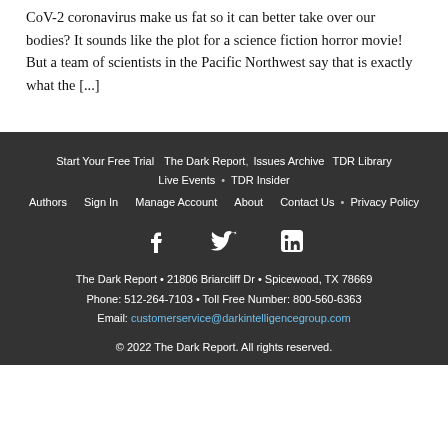CoV-2 coronavirus make us fat so it can better take over our bodies? It sounds like the plot for a science fiction horror movie! But a team of scientists in the Pacific Northwest say that is exactly what the [...]
Start Your Free Trial · The Dark Report · Issues Archive · TDR Library · Live Events · TDR Insider · Authors · Sign In · Manage Account · About · Contact Us · Privacy Policy · facebook · twitter · linkedin · The Dark Report • 21806 Briarcliff Dr • Spicewood, TX 78669 · Phone: 512-264-7103 • Toll Free Number: 800-560-6363 · Email: customerservice@darkintelligencegroup.com · © 2022 The Dark Report. All rights reserved.